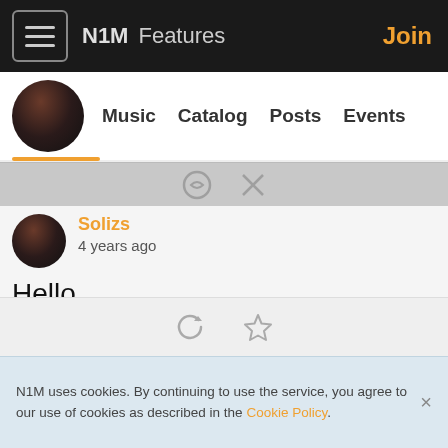N1M   Features   Join
[Figure (screenshot): Profile navigation bar with avatar and tabs: Music, Catalog, Posts, Events]
Solizs
4 years ago
Hello
Thank you so much for your support! And know that I will be coming out with more songs that touch your heart and soul
I love all my fan see you on stage soon. help me to get Million...
Read more
N1M uses cookies. By continuing to use the service, you agree to our use of cookies as described in the Cookie Policy.